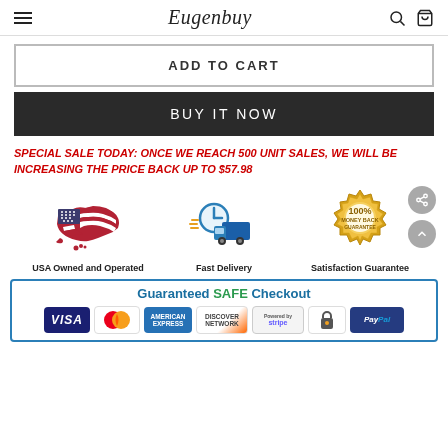Eugenbuy
ADD TO CART
BUY IT NOW
SPECIAL SALE TODAY: ONCE WE REACH 500 UNIT SALES, WE WILL BE INCREASING THE PRICE BACK UP TO $57.98
[Figure (infographic): Three trust badges: USA Owned and Operated (US flag map icon), Fast Delivery (truck with clock icon), Satisfaction Guarantee (100% money back gold seal)]
[Figure (infographic): Guaranteed SAFE Checkout banner with payment icons: Visa, MasterCard, American Express, Discover Network, Stripe, checkmark, PayPal]